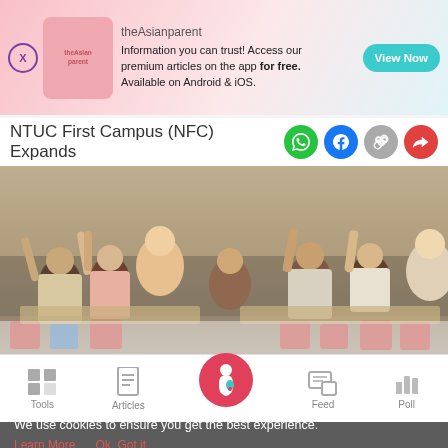[Figure (screenshot): Advertisement banner for theAsianparent app with logo, text about premium articles, and View Now button]
NTUC First Campus (NFC) Expands
[Figure (photo): Classroom scene with children and a teacher raising hands at colorful tables with chairs]
[Figure (screenshot): Bottom navigation bar with Tools, Articles, Home (pregnant woman icon), Feed, and Poll icons]
We use cookies to ensure you get the best experience.
Learn More   Ok, Got it